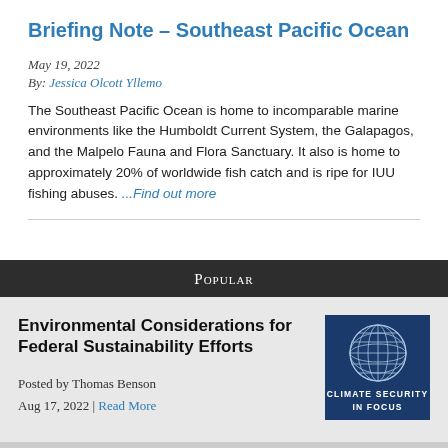Briefing Note – Southeast Pacific Ocean
May 19, 2022
By: Jessica Olcott Yllemo
The Southeast Pacific Ocean is home to incomparable marine environments like the Humboldt Current System, the Galapagos, and the Malpelo Fauna and Flora Sanctuary. It also is home to approximately 20% of worldwide fish catch and is ripe for IUU fishing abuses. ...Find out more
Popular
Environmental Considerations for Federal Sustainability Efforts
[Figure (logo): Climate Security In Focus logo — dark blue square with globe wireframe graphic and text 'CLIMATE SECURITY IN FOCUS']
Posted by Thomas Benson
Aug 17, 2022 | Read More